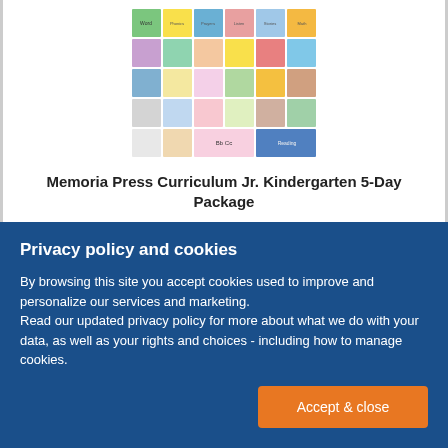[Figure (photo): A collage of children's books and educational materials for a Jr. Kindergarten curriculum package]
Memoria Press Curriculum Jr. Kindergarten 5-Day Package
Privacy policy and cookies
By browsing this site you accept cookies used to improve and personalize our services and marketing.
Read our updated privacy policy for more about what we do with your data, as well as your rights and choices - including how to manage cookies.